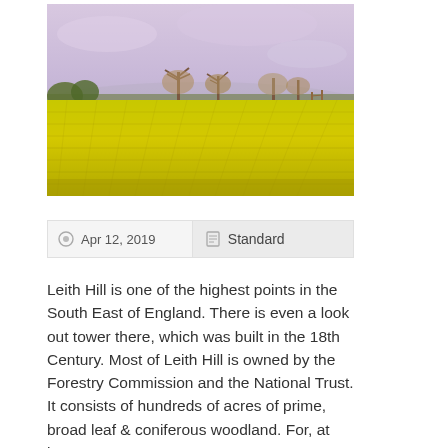[Figure (photo): Landscape photograph showing a yellow rapeseed field in the foreground with trees and a pale purple/lilac sky in the background.]
Apr 12, 2019     Standard
Leith Hill is one of the highest points in the South East of England. There is even a look out tower there, which was built in the 18th Century. Most of Leith Hill is owned by the Forestry Commission and the National Trust. It consists of hundreds of acres of prime, broad leaf & coniferous woodland. For, at least a